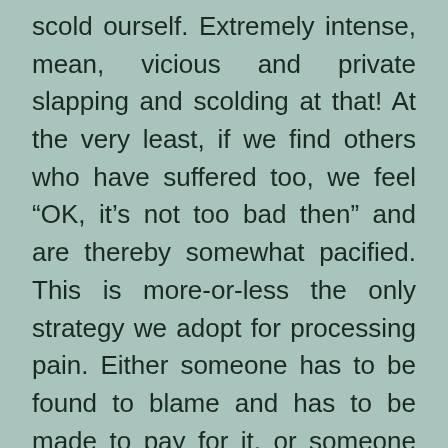scold ourself. Extremely intense, mean, vicious and private slapping and scolding at that! At the very least, if we find others who have suffered too, we feel “OK, it’s not too bad then” and are thereby somewhat pacified. This is more-or-less the only strategy we adopt for processing pain. Either someone has to be found to blame and has to be made to pay for it, or someone else has to suffer with us. Be it the individual human being or any other collective – nation, community, religion whatever. This is our system of “justice”. What if the true answer is that there is no